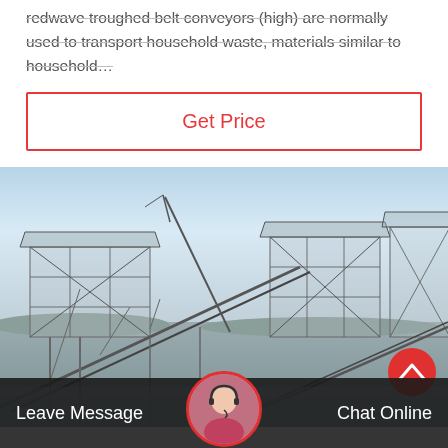redwave troughed belt conveyors (high) are normally used to transport household waste, materials similar to household…
Get Price
[Figure (photo): Aerial/elevated view of an industrial conveyor belt system with large steel frame structures at a mining or waste processing facility, blue sky background.]
Leave Message
Chat Online